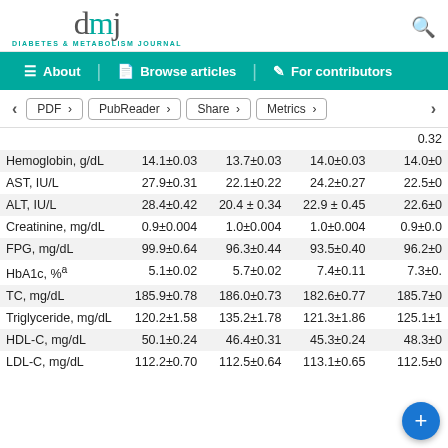dmj DIABETES & METABOLISM JOURNAL
About | Browse articles | For contributors
PDF > | PubReader > | Share > | Metrics >
|  | Col1 | Col2 | Col3 | Col4 |
| --- | --- | --- | --- | --- |
|  |  |  |  | 0.32 |
| Hemoglobin, g/dL | 14.1±0.03 | 13.7±0.03 | 14.0±0.03 | 14.0±0 |
| AST, IU/L | 27.9±0.31 | 22.1±0.22 | 24.2±0.27 | 22.5±0 |
| ALT, IU/L | 28.4±0.42 | 20.4 ± 0.34 | 22.9 ± 0.45 | 22.6±0 |
| Creatinine, mg/dL | 0.9±0.004 | 1.0±0.004 | 1.0±0.004 | 0.9±0.0 |
| FPG, mg/dL | 99.9±0.64 | 96.3±0.44 | 93.5±0.40 | 96.2±0 |
| HbA1c, %a | 5.1±0.02 | 5.7±0.02 | 7.4±0.11 | 7.3±0. |
| TC, mg/dL | 185.9±0.78 | 186.0±0.73 | 182.6±0.77 | 185.7±0 |
| Triglyceride, mg/dL | 120.2±1.58 | 135.2±1.78 | 121.3±1.86 | 125.1±1 |
| HDL-C, mg/dL | 50.1±0.24 | 46.4±0.31 | 45.3±0.24 | 48.3±0 |
| LDL-C, mg/dL | 112.2±0.70 | 112.5±0.64 | 113.1±0.65 | 112.5±0 |